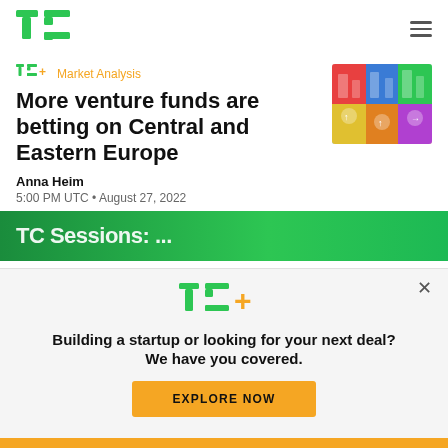TechCrunch logo and navigation
TC+ Market Analysis
More venture funds are betting on Central and Eastern Europe
[Figure (illustration): Colorful illustrated image depicting buildings and tech icons for Central and Eastern Europe article]
Anna Heim
5:00 PM UTC • August 27, 2022
[Figure (other): Green banner with partially visible text (TC Sessions: ...)]
[Figure (logo): TC+ logo in modal overlay]
Building a startup or looking for your next deal? We have you covered.
EXPLORE NOW